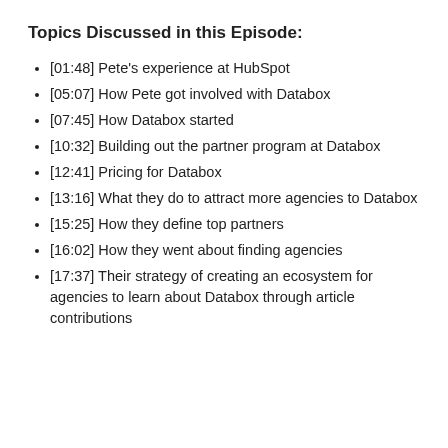Topics Discussed in this Episode:
[01:48] Pete's experience at HubSpot
[05:07] How Pete got involved with Databox
[07:45] How Databox started
[10:32] Building out the partner program at Databox
[12:41] Pricing for Databox
[13:16] What they do to attract more agencies to Databox
[15:25] How they define top partners
[16:02] How they went about finding agencies
[17:37] Their strategy of creating an ecosystem for agencies to learn about Databox through article contributions